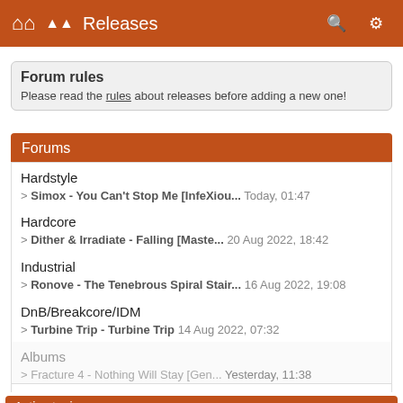Releases
Forum rules
Please read the rules about releases before adding a new one!
Forums
Hardstyle
> Simox - You Can't Stop Me [InfeXiou... Today, 01:47
Hardcore
> Dither & Irradiate - Falling [Maste... 20 Aug 2022, 18:42
Industrial
> Ronove - The Tenebrous Spiral Stair... 16 Aug 2022, 19:08
DnB/Breakcore/IDM
> Turbine Trip - Turbine Trip 14 Aug 2022, 07:32
Albums
> Fracture 4 - Nothing Will Stay [Gen... Yesterday, 11:38
Techno
> Dax J - Brixton EP [Monnom Black] 20 Aug 2022, 11:00
Active topics